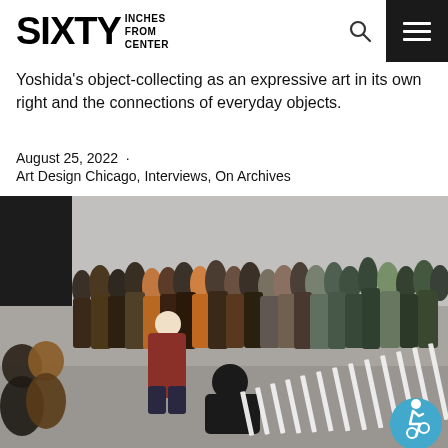SIXTY INCHES FROM CENTER
Yoshida's object-collecting as an expressive art in its own right and the connections of everyday objects.
August 25, 2022  ·
Art Design Chicago, Interviews, On Archives
[Figure (photo): A group of people standing in a gallery space watching a performance or presentation. A person is seated on the floor near a white sculptural installation that extends diagonally across the floor. Other visitors stand along the walls watching.]